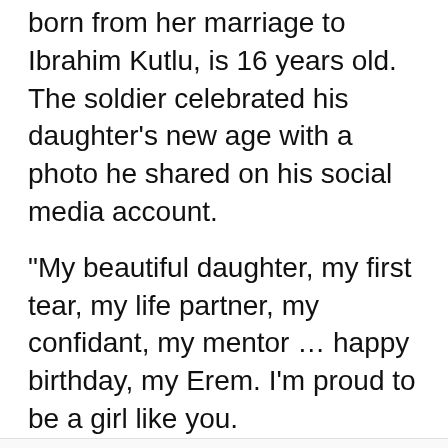born from her marriage to Ibrahim Kutlu, is 16 years old. The soldier celebrated his daughter's new age with a photo he shared on his social media account.
“My beautiful daughter, my first tear, my life partner, my confidant, my mentor … happy birthday, my Erem. I’m proud to be a girl like you.
We use cookies on our website to give you the most relevant experience by remembering your preferences and repeat visits. By clicking “Accept All”, you consent to the use of ALL the cookies. However, you may visit "Cookie Settings" to provide a controlled consent.